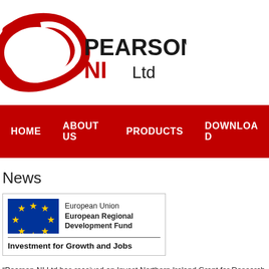[Figure (logo): Pearson NI Ltd logo with red swoosh and company name]
HOME   ABOUT US   PRODUCTS   DOWNLOADS
News
[Figure (logo): European Union European Regional Development Fund – Investment for Growth and Jobs logo]
“Pearson-NI Ltd has received an Invest Northern Ireland Grant for Research & innovation in services, products and processes. Part financed by the Invest for Northern Ireland co financed by the European Regional Development